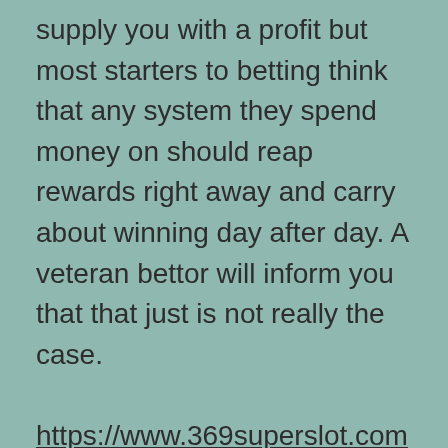supply you with a profit but most starters to betting think that any system they spend money on should reap rewards right away and carry about winning day after day. A veteran bettor will inform you that that just is not really the case.

https://www.369superslot.com might go through burning off streaks and a lot will certainly never go every single day without suffering any loss at almost all. It truly is for that will reason that typically the betting bank regarding any system is carefully planned out to be able to absorb any such losing streak in